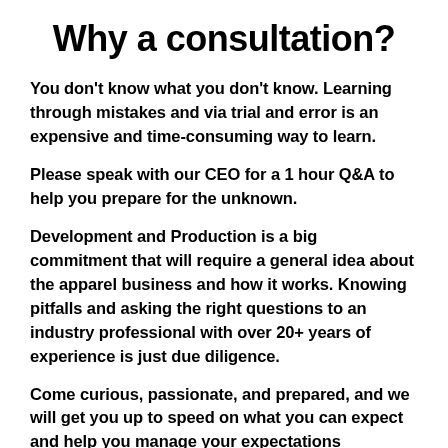Why a consultation?
You don't know what you don't know. Learning through mistakes and via trial and error is an expensive and time-consuming way to learn.
Please speak with our CEO for a 1 hour Q&A to help you prepare for the unknown.
Development and Production is a big commitment that will require a general idea about the apparel business and how it works. Knowing pitfalls and asking the right questions to an industry professional with over 20+ years of experience is just due diligence.
Come curious, passionate, and prepared, and we will get you up to speed on what you can expect and help you manage your expectations realistically.